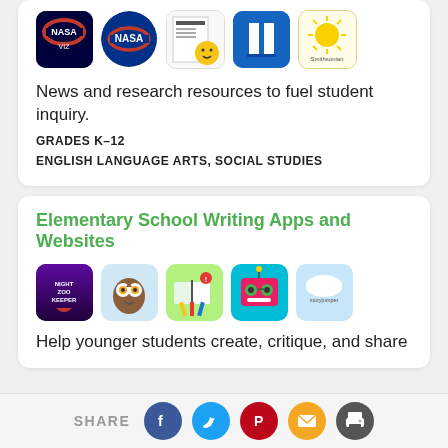[Figure (illustration): Row of 5 app/website icons: NASA VIZ, NASA logo, Newsela-style newspaper icon, blue bookshelf icon, Smithsonian sun logo]
News and research resources to fuel student inquiry.
GRADES K–12
ENGLISH LANGUAGE ARTS, SOCIAL STUDIES
Elementary School Writing Apps and Websites
[Figure (illustration): Row of 5 app icons: Night Zookeeper, Book Creator owl, Book with pencils, Monster book robot, StoryJumper]
Help younger students create, critique, and share
SHARE [Facebook] [Twitter] [Pinterest] [Email] [Print]